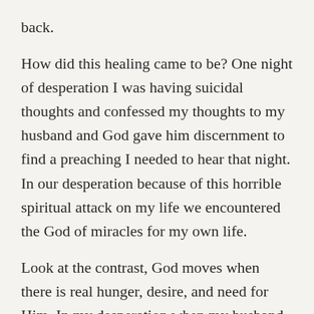back.
How did this healing came to be? One night of desperation I was having suicidal thoughts and confessed my thoughts to my husband and God gave him discernment to find a preaching I needed to hear that night. In our desperation because of this horrible spiritual attack on my life we encountered the God of miracles for my own life.
Look at the contrast, God moves when there is real hunger, desire, and need for Him. In my desperation when my husband prayed for me led by the pastor online: I was completely healed and set free from what might never return again.